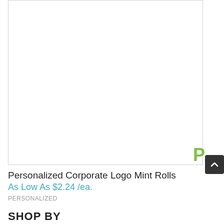[Figure (photo): Product image placeholder area — white box with light gray border for Personalized Corporate Logo Mint Rolls]
Personalized Corporate Logo Mint Rolls
As Low As $2.24 /ea.
PERSONALIZED
SHOP BY